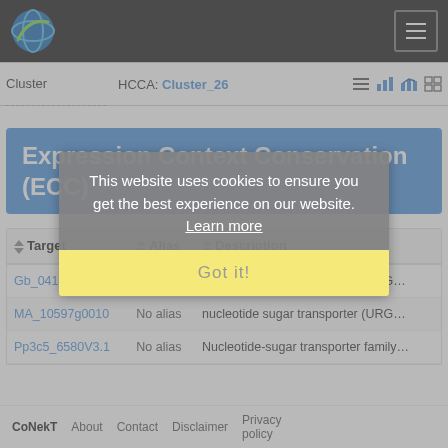CoNekT navigation bar with logo and hamburger menu
| Cluster | HCCA: Cluster_26 |  |
| --- | --- | --- |
Expression Context Conservation (ECC)
| Target | Alias | Description |
| --- | --- | --- |
| Gb_04141 | No alias | nucleotide sugar transporter (URG... |
| MA_10597g0010 | No alias | nucleotide sugar transporter (URG... |
| Pp3c5_6580V3.1 | No alias | Nucleotide-sugar transporter family... |
This website uses cookies to ensure you get the best experience on our website. Learn more
Got it!
CoNekT   About   Contact   Disclaimer   Privacy policy